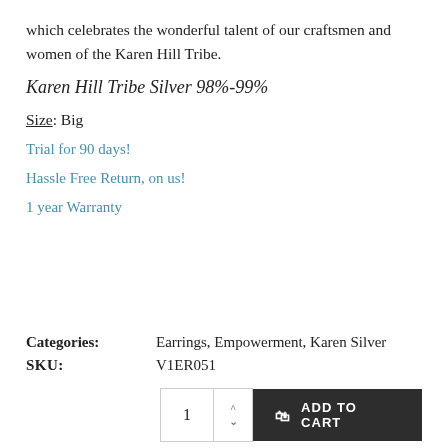which celebrates the wonderful talent of our craftsmen and women of the Karen Hill Tribe.
Karen Hill Tribe Silver 98%-99%
Size: Big
Trial for 90 days!
Hassle Free Return, on us!
1 year Warranty
Categories: Earrings, Empowerment, Karen Silver
SKU: V1ER051